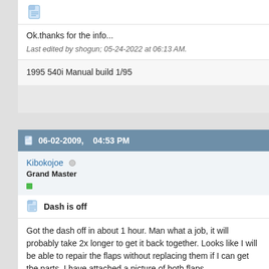[Figure (screenshot): Post icon (document/note icon)]
Ok.thanks for the info...
Last edited by shogun; 05-24-2022 at 06:13 AM.
1995 540i Manual build 1/95
06-02-2009, 04:53 PM
Kibokojoe
Grand Master
Dash is off
Got the dash off in about 1 hour. Man what a job, it will probably take 2x longer to get it back together. Looks like I will be able to repair the flaps without re if I can get the parts. I have attached a picture of both flaps.
[Figure (photo): Photo of dashboard flaps, gray/white colored parts]